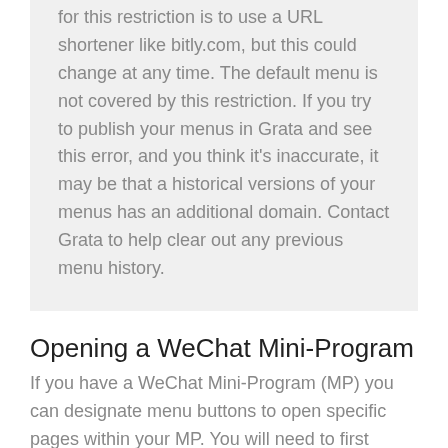for this restriction is to use a URL shortener like bitly.com, but this could change at any time. The default menu is not covered by this restriction. If you try to publish your menus in Grata and see this error, and you think it's inaccurate, it may be that a historical versions of your menus has an additional domain. Contact Grata to help clear out any previous menu history.
Opening a WeChat Mini-Program
If you have a WeChat Mini-Program (MP) you can designate menu buttons to open specific pages within your MP. You will need to first install the Grata plug-in in your MP. After your MP is connected, enter the specific page